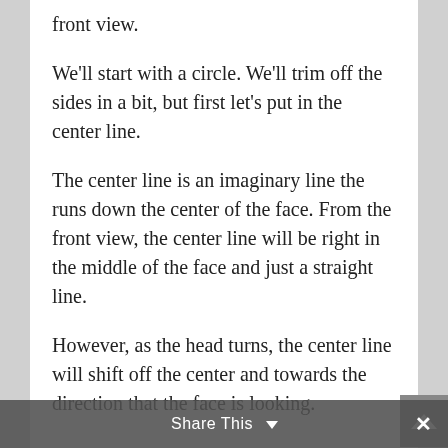front view.
We'll start with a circle. We'll trim off the sides in a bit, but first let's put in the center line.
The center line is an imaginary line the runs down the center of the face. From the front view, the center line will be right in the middle of the face and just a straight line.
However, as the head turns, the center line will shift off the center and towards the direction that the face is looking.
Share This ∨  ×